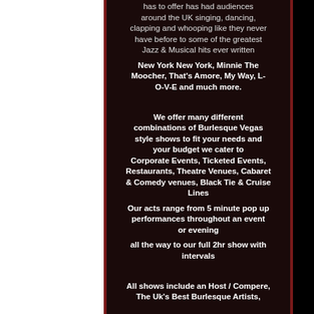has to offer has had audiences around the UK singing, dancing, clapping and whooping like they never have before to some of the greatest Jazz & Musical hits ever written New York New York, Minnie The Moocher, That's Amore, My Way, L-O-V-E and much more. We offer many different combinations of Burlesque Vegas style shows to fit your needs and your budget we cater to Corporate Events, Ticketed Events, Restaurants, Theatre Venues, Cabaret & Comedy venues, Black Tie & Cruise Lines Our acts range from 5 minute pop up performances throughout an event or evening all the way to our full 2hr show with intervals All shows include an Host / Compere, The Uk's Best Burlesque Artists,